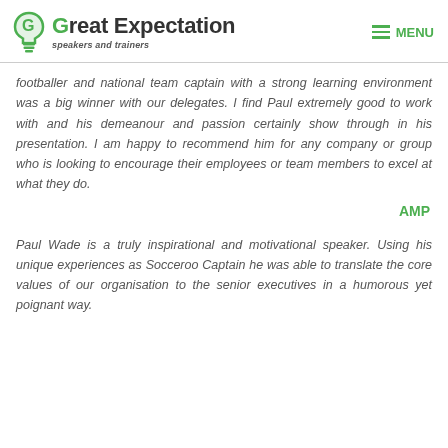Great Expectation speakers and trainers | MENU
footballer and national team captain with a strong learning environment was a big winner with our delegates. I find Paul extremely good to work with and his demeanour and passion certainly show through in his presentation. I am happy to recommend him for any company or group who is looking to encourage their employees or team members to excel at what they do.
AMP
Paul Wade is a truly inspirational and motivational speaker. Using his unique experiences as Socceroo Captain he was able to translate the core values of our organisation to the senior executives in a humorous yet poignant way.